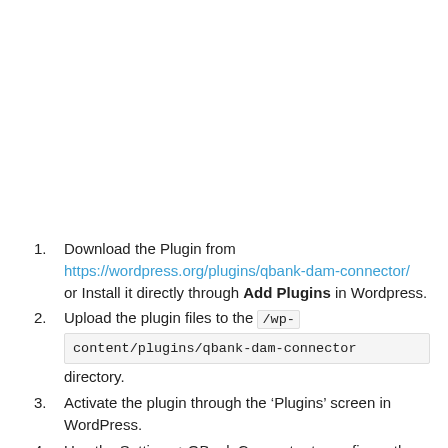Download the Plugin from https://wordpress.org/plugins/qbank-dam-connector/ or Install it directly through Add Plugins in Wordpress.
Upload the plugin files to the /wp-content/plugins/qbank-dam-connector directory.
Activate the plugin through the ‘Plugins’ screen in WordPress.
Use the Settings->QBank Connector to configure the plugin.